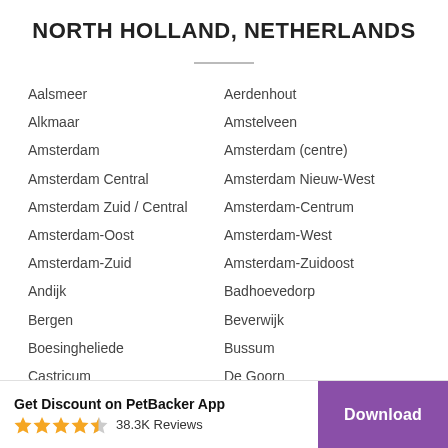NORTH HOLLAND, NETHERLANDS
Aalsmeer
Aerdenhout
Alkmaar
Amstelveen
Amsterdam
Amsterdam (centre)
Amsterdam Central
Amsterdam Nieuw-West
Amsterdam Zuid / Central
Amsterdam-Centrum
Amsterdam-Oost
Amsterdam-West
Amsterdam-Zuid
Amsterdam-Zuidoost
Andijk
Badhoevedorp
Bergen
Beverwijk
Boesingheliede
Bussum
Castricum
De Goorn
Get Discount on PetBacker App
38.3K Reviews
Download